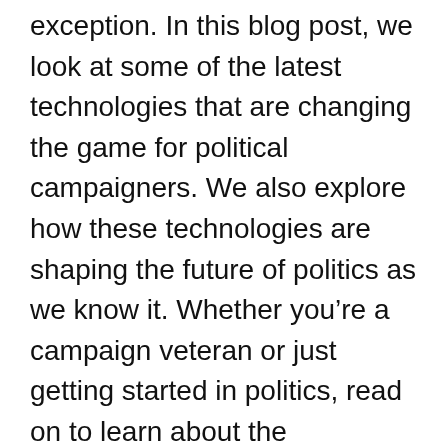exception. In this blog post, we look at some of the latest technologies that are changing the game for political campaigners. We also explore how these technologies are shaping the future of politics as we know it. Whether you’re a campaign veteran or just getting started in politics, read on to learn about the technologies that will be shaping the campaigns of tomorrow!
There’s no doubt that technology has changed how political campaigns are run. But what will the future of